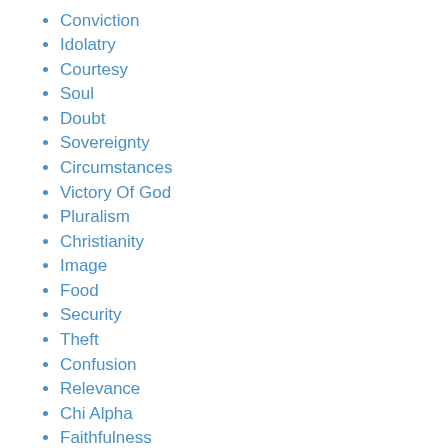Conviction
Idolatry
Courtesy
Soul
Doubt
Sovereignty
Circumstances
Victory Of God
Pluralism
Christianity
Image
Food
Security
Theft
Confusion
Relevance
Chi Alpha
Faithfulness
Deception
False Doctrine
Salt
Provision